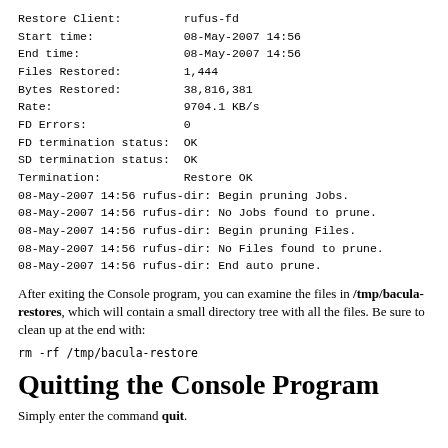Restore Client:         rufus-fd
Start time:             08-May-2007 14:56
End time:               08-May-2007 14:56
Files Restored:         1,444
Bytes Restored:         38,816,381
Rate:                   9704.1 KB/s
FD Errors:              0
FD termination status:  OK
SD termination status:  OK
Termination:            Restore OK
08-May-2007 14:56 rufus-dir: Begin pruning Jobs.
08-May-2007 14:56 rufus-dir: No Jobs found to prune.
08-May-2007 14:56 rufus-dir: Begin pruning Files.
08-May-2007 14:56 rufus-dir: No Files found to prune.
08-May-2007 14:56 rufus-dir: End auto prune.
After exiting the Console program, you can examine the files in /tmp/bacula-restores, which will contain a small directory tree with all the files. Be sure to clean up at the end with:
rm -rf /tmp/bacula-restore
Quitting the Console Program
Simply enter the command quit.